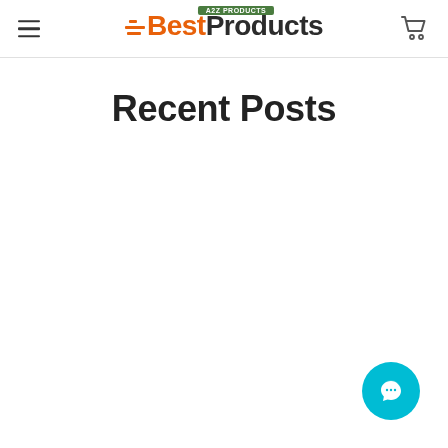A2Z PRODUCTS BestProducts — navigation header with hamburger menu and cart icon
Recent Posts
[Figure (illustration): Teal circular chat/support button icon in bottom-right corner]